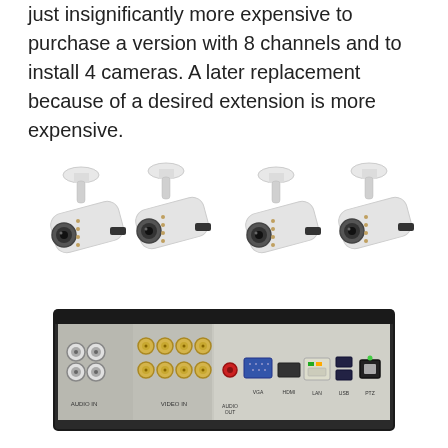just insignificantly more expensive to purchase a version with 8 channels and to install 4 cameras. A later replacement because of a desired extension is more expensive.
[Figure (photo): Photo showing four white bullet-style security cameras mounted in a row (top), and the rear panel of an 8-channel DVR/NVR recorder showing audio-in ports, video-in BNC connectors, VGA, HDMI, LAN, USB, and power ports (bottom).]